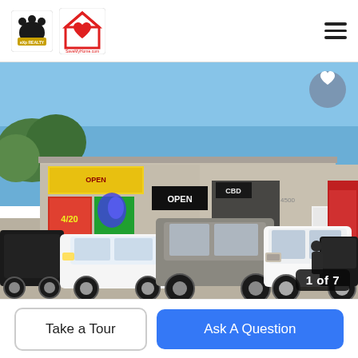[Figure (logo): eXp Realty logo (black bear paw print with gold text) and SaveMyHome.com logo (red house with heart)]
[Figure (photo): Exterior photo of a commercial strip mall building with multiple cars parked in front, including a white sedan, silver/grey SUV/truck, white Cadillac Escalade, and black car. Building has colorful signage and an OPEN sign. Blue sky in background. Image counter shows 1 of 7.]
1 of 7
Take a Tour
Ask A Question